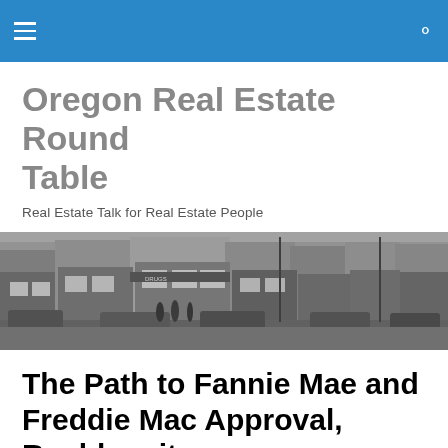Oregon Real Estate Round Table — site header bar with hamburger menu and search icon
Oregon Real Estate Round Table
Real Estate Talk for Real Estate People
[Figure (photo): Black and white photograph of a mid-20th century Oregon downtown street scene with storefronts, parked cars, and pedestrians]
The Path to Fannie Mae and Freddie Mac Approval, Reoblogsite.com